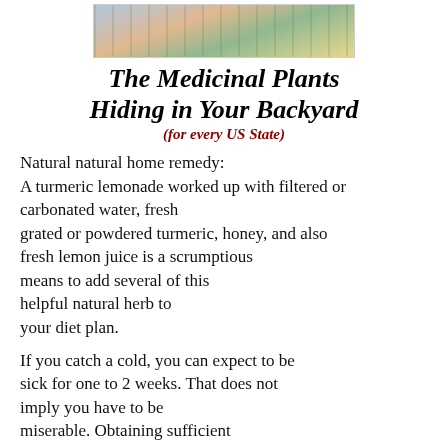[Figure (illustration): A banner image showing a medicinal plants chart/poster with illustrated herbs, maps, and plant illustrations in various colors including blue, orange, green, and yellow.]
The Medicinal Plants Hiding in Your Backyard
(for every US State)
Natural natural home remedy:
A turmeric lemonade worked up with filtered or carbonated water, fresh grated or powdered turmeric, honey, and also fresh lemon juice is a scrumptious means to add several of this helpful natural herb to your diet plan.
If you catch a cold, you can expect to be sick for one to 2 weeks. That does not imply you have to be miserable. Obtaining sufficient